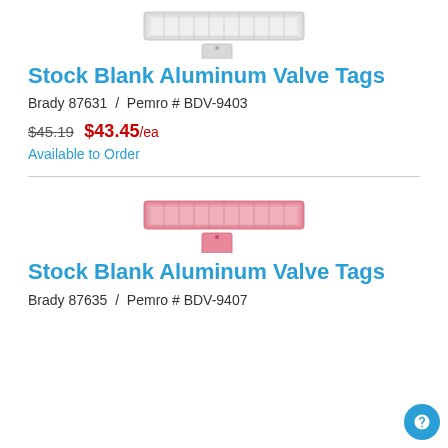[Figure (photo): Product image showing silver/white aluminum valve tags — a stacked bundle and a single square tag below it]
Stock Blank Aluminum Valve Tags
Brady 87631  /  Pemro # BDV-9403
$45.19  $43.45/ea
Available to Order
[Figure (photo): Product image showing pink aluminum valve tags — a stacked bundle and a single square tag below it]
Stock Blank Aluminum Valve Tags
Brady 87635  /  Pemro # BDV-9407